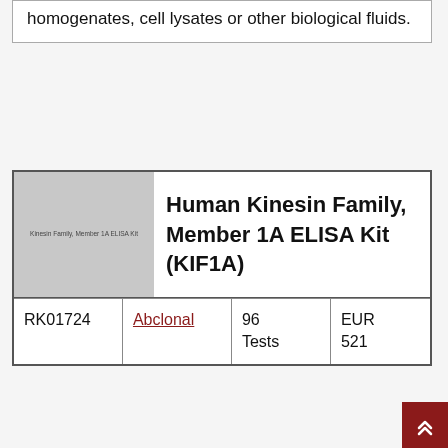homogenates, cell lysates or other biological fluids.
[Figure (photo): Product image placeholder for Kinesin Family Member 1A ELISA Kit]
Human Kinesin Family, Member 1A ELISA Kit (KIF1A)
| ID | Brand | Quantity | Price |
| --- | --- | --- | --- |
| RK01724 | Abclonal | 96 Tests | EUR 521 |